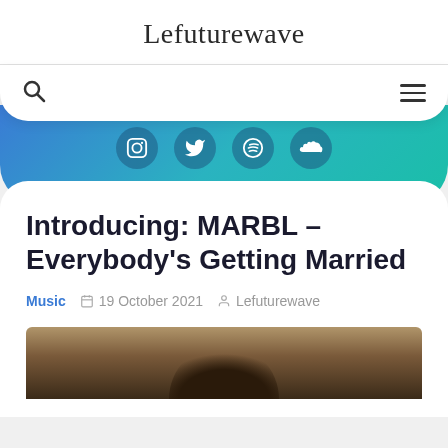Lefuturewave
[Figure (screenshot): Navigation bar with search icon on left and hamburger menu on right]
[Figure (infographic): Gradient blue-teal banner with four social media icons: Instagram, Twitter, Spotify, SoundCloud]
Introducing: MARBL – Everybody's Getting Married
Music  19 October 2021  Lefuturewave
[Figure (photo): Partial photo showing top of a person's head with dark hair]